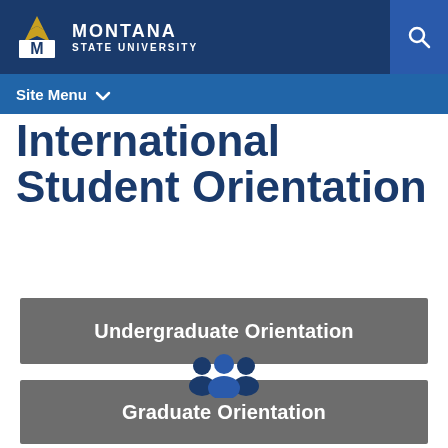Montana State University
Site Menu
International Student Orientation
Undergraduate Orientation
[Figure (illustration): Group of people icon in navy blue representing graduate students]
Graduate Orientation